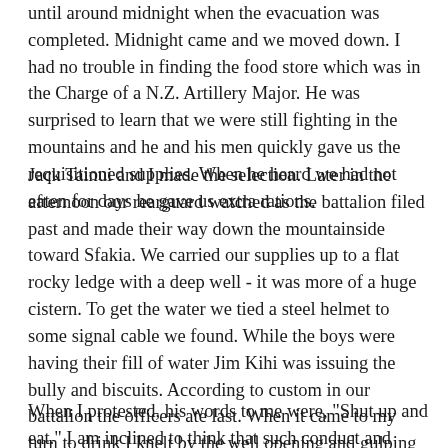until around midnight when the evacuation was completed. Midnight came and we moved down. I had no trouble in finding the food store which was in the Charge of a N.Z. Artillery Major. He was surprised to learn that we were still fighting in the mountains and he and his men quickly gave us the requisitioned supplies. When he heard we had not eaten for days he gave us extra rations.
Jack Tainui and I made the selection. Later in the afternoon our rearguard watched as the battalion filed past and made their way down the mountainside toward Sfakia. We carried our supplies up to a flat rocky ledge with a deep well - it was more of a huge cistern. To get the water we tied a steel helmet to some signal cable we found. While the boys were having their fill of water Jim Kihi was issuing the bully and biscuits. According to custom in our battalion the officers ate last. When it came to my turn to drink I knelt by the well opening and gulping down the water. With spillage I drank four hat fulls, then Jim handed me a whole tin of bully beef and a packet of biscuits.
When I protested, his words to me were, "Shut up and eat." I am inclined to think that such conduct and words only happen in the